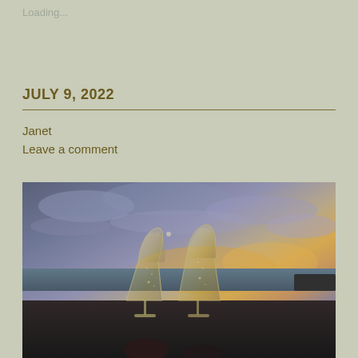Loading...
JULY 9, 2022
Janet
Leave a comment
[Figure (photo): Two champagne or wine glasses clinking together in a toast, held up against a dramatic sunset sky over the ocean with orange and purple clouds.]